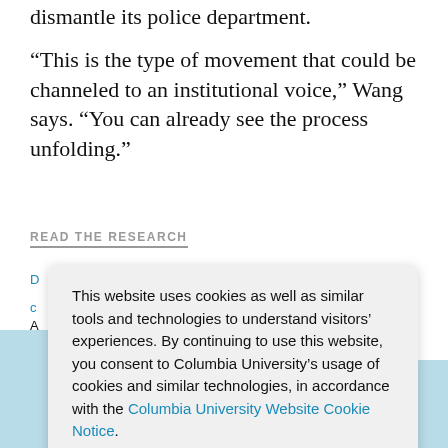dismantle its police department.
“This is the type of movement that could be channeled to an institutional voice,” Wang says. “You can already see the process unfolding.”
READ THE RESEARCH
This website uses cookies as well as similar tools and technologies to understand visitors’ experiences. By continuing to use this website, you consent to Columbia University’s usage of cookies and similar technologies, in accordance with the Columbia University Website Cookie Notice.